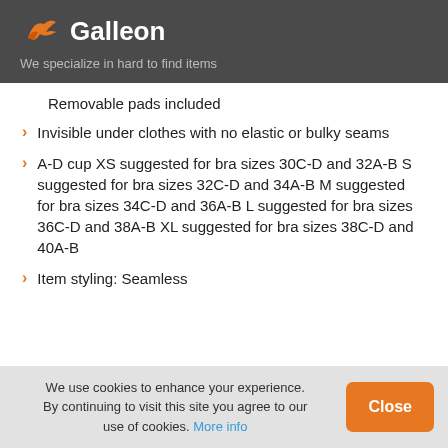Galleon — We specialize in hard to find items
Removable pads included
Invisible under clothes with no elastic or bulky seams
A-D cup XS suggested for bra sizes 30C-D and 32A-B S suggested for bra sizes 32C-D and 34A-B M suggested for bra sizes 34C-D and 36A-B L suggested for bra sizes 36C-D and 38A-B XL suggested for bra sizes 38C-D and 40A-B
Item styling: Seamless
We use cookies to enhance your experience. By continuing to visit this site you agree to our use of cookies. More info